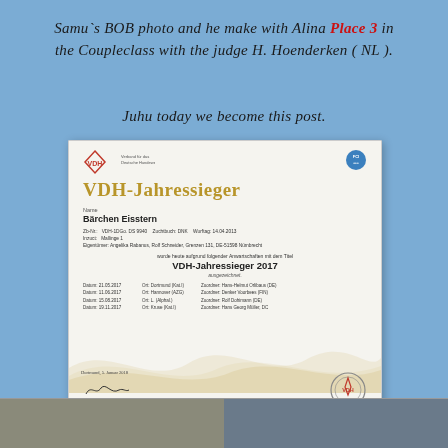Samu`s BOB photo and he make with Alina Place 3 in the Coupleclass with the judge H. Hoenderken ( NL ).
Juhu today we become this post.
[Figure (photo): VDH-Jahressieger certificate for Bärchen Eisstern, awarded VDH-Jahressieger 2017, with show details, signature, wave decoration, and VDH stamp.]
[Figure (photo): Two partial photos at the bottom of the page, showing people or dogs, partially cropped.]